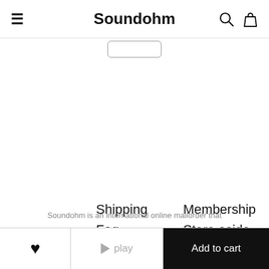Soundohm
[Figure (screenshot): Partial rounded rectangle search box visible below header]
Shipping
Faq
Privacy
Contact
Membership
Store aside
Soundohm is an international online mailorder that
♥   ▶ play   Add to cart